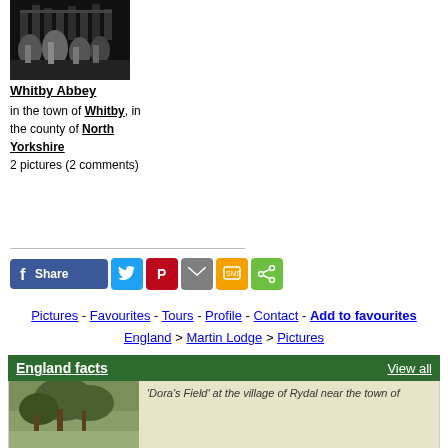[Figure (photo): Black and white night photo of Whitby Abbey]
Whitby Abbey
in the town of Whitby, in the county of North Yorkshire
2 pictures (2 comments)
[Figure (infographic): Social share buttons: Share (Facebook), Twitter, Pinterest, Email, SMS, Share]
Pictures - Favourites - Tours - Profile - Contact - Add to favourites
England > Martin Lodge > Pictures
England facts
View all
[Figure (photo): Trees at Dora's Field at the village of Rydal near the town of]
'Dora's Field' at the village of Rydal near the town of